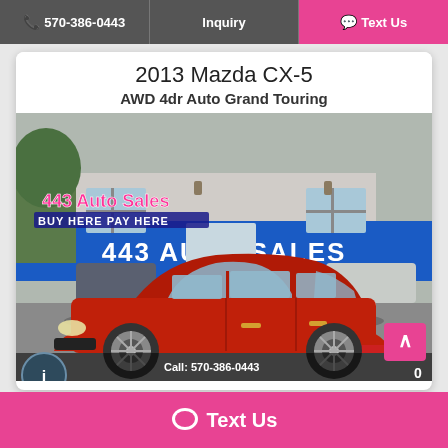570-386-0443 | Inquiry | Text Us
2013 Mazda CX-5
AWD 4dr Auto Grand Touring
[Figure (photo): Red 2013 Mazda CX-5 SUV parked in front of 443 Auto Sales dealership. Pink and white overlay text reads '443 Auto Sales BUY HERE PAY HERE'. Blue dealership sign in background reads '443 AUTO SALES'.]
Text Us